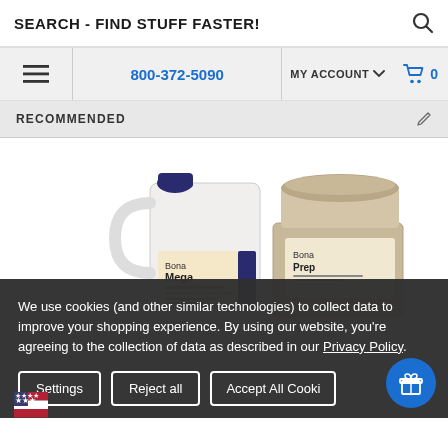SEARCH - FIND STUFF FASTER!
800-372-5090  MY ACCOUNT  0
RECOMMENDED
[Figure (photo): Two product images: left shows Bona Mega gallon jug, right shows Bona Prep bucket/pail]
We use cookies (and other similar technologies) to collect data to improve your shopping experience. By using our website, you're agreeing to the collection of data as described in our Privacy Policy.